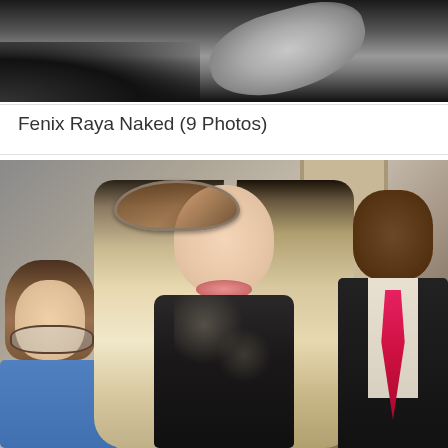[Figure (photo): Black and white photo showing a partial view of a person's body against a dark background]
Fenix Raya Naked (9 Photos)
[Figure (photo): A blonde woman wearing large cat-eye sunglasses and long straight platinum blonde hair, wearing a dark sparkly outfit, flanked by a brunette woman with glasses on the left and a man in a dark suit with a pink/red tie on the right]